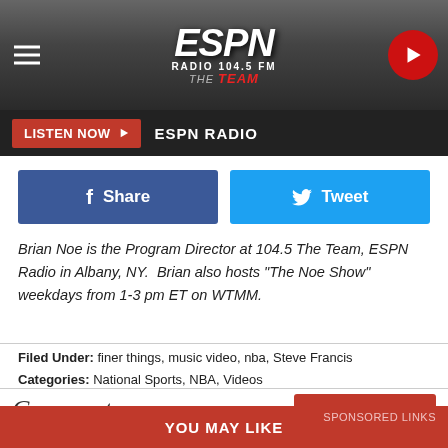[Figure (logo): ESPN Radio 104.5 FM The Team logo in header with hamburger menu and play button]
LISTEN NOW ▶  ESPN RADIO
Share  Tweet
Brian Noe is the Program Director at 104.5 The Team, ESPN Radio in Albany, NY.  Brian also hosts "The Noe Show" weekdays from 1-3 pm ET on WTMM.
Filed Under: finer things, music video, nba, Steve Francis
Categories: National Sports, NBA, Videos
Comments
YOU MAY LIKE   SPONSORED LINKS